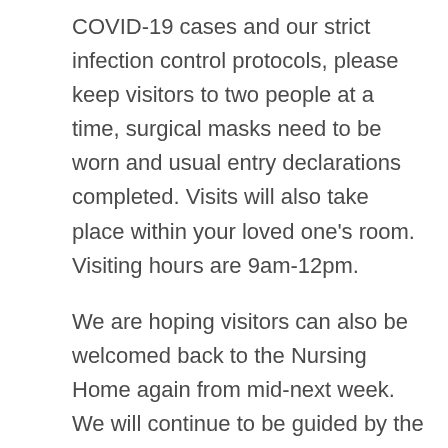COVID-19 cases and our strict infection control protocols, please keep visitors to two people at a time, surgical masks need to be worn and usual entry declarations completed. Visits will also take place within your loved one's room. Visiting hours are 9am-12pm.
We are hoping visitors can also be welcomed back to the Nursing Home again from mid-next week. We will continue to be guided by the Public Health Unit on the timing.
Residents have been enjoying the nice weather with some walks around our blooming gardens.